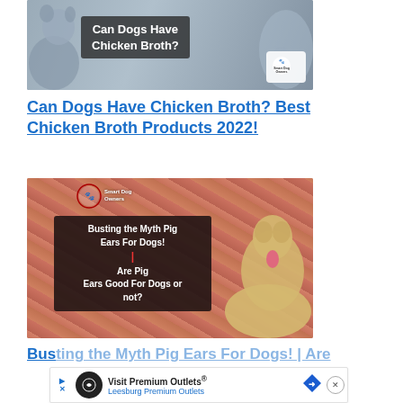[Figure (photo): Photo of a husky dog lying down with text overlay: 'Can Dogs Have Chicken Broth?' and Smart Dog Owners logo]
Can Dogs Have Chicken Broth? Best Chicken Broth Products 2022!
[Figure (photo): Photo of raw pig ears with a yellow Labrador and text overlay: 'Busting the Myth Pig Ears For Dogs! | Are Pig Ears Good For Dogs or not?' with Smart Dog Owners logo]
Busting the Myth Pig Ears For Dogs! | Are Pig Ears Good For Dogs or not?
[Figure (other): Advertisement banner: Visit Premium Outlets® Leesburg Premium Outlets with logo, navigation arrow, road sign icon, and close button]